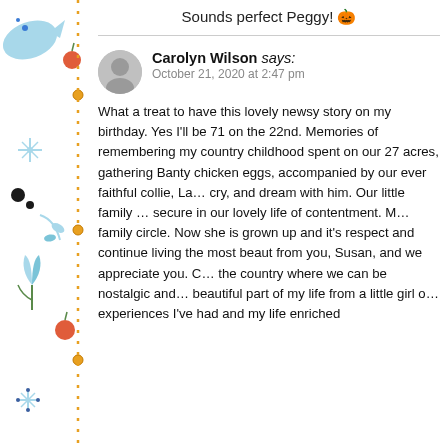Sounds perfect Peggy! 🎃
Carolyn Wilson says:
October 21, 2020 at 2:47 pm
What a treat to have this lovely newsy story on my birthday. Yes I'll be 71 on the 22nd. Memories of remembering my country childhood spent on our 27 acres, gathering Banty chicken eggs accompanied by our ever faithful collie, La cry, and dream with him. Our little family secure in our lovely life of contentment. M family circle. Now she is grown up and it's respect and continue living the most beaut from you, Susan, and we appreciate you. C the country where we can be nostalgic and beautiful part of my life from a little girl o experiences I've had and my life enriched